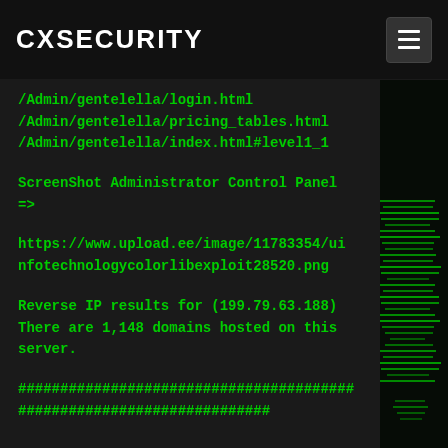CXSECURITY
/Admin/gentelella/login.html
/Admin/gentelella/pricing_tables.html
/Admin/gentelella/index.html#level1_1
ScreenShot Administrator Control Panel =>
https://www.upload.ee/image/11783354/uinfotechnologycolorlibexploit28520.png
Reverse IP results for (199.79.63.188) There are 1,148 domains hosted on this server.
########################################
##############################